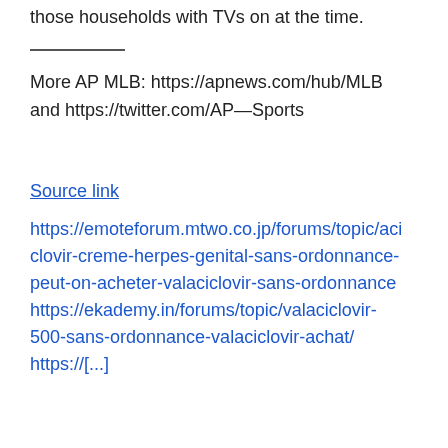those households with TVs on at the time.
More AP MLB: https://apnews.com/hub/MLB and https://twitter.com/AP—Sports
Source link
https://emoteforum.mtwo.co.jp/forums/topic/aciclovir-creme-herpes-genital-sans-ordonnance-peut-on-acheter-valaciclovir-sans-ordonnance https://ekademy.in/forums/topic/valaciclovir-500-sans-ordonnance-valaciclovir-achat/